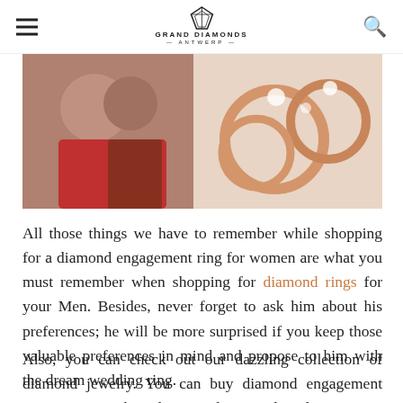Grand Diamonds Antwerp
[Figure (photo): Banner image showing a couple embracing on the left side and diamond engagement rings on a beige/rose gold background on the right side]
All those things we have to remember while shopping for a diamond engagement ring for women are what you must remember when shopping for diamond rings for your Men. Besides, never forget to ask him about his preferences; he will be more surprised if you keep those valuable preferences in mind and propose to him with the dream wedding ring.
Also, you can check out our dazzling collection of diamond jewelry. You can buy diamond engagement rings, earrings, bracelets, pendants, and studs at a price that will never strain your pockets. So, if for months you